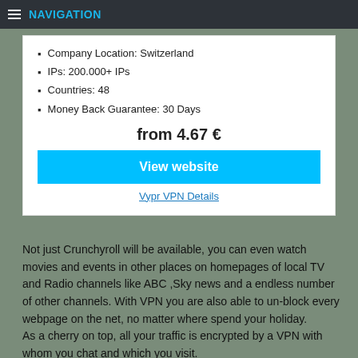NAVIGATION
Company Location: Switzerland
IPs: 200.000+ IPs
Countries: 48
Money Back Guarantee: 30 Days
from 4.67 €
View website
Vypr VPN Details
Not just Crunchyroll will be available, you can even watch movies and events in other places on homepages of local TV and Radio channels like ABC ,Sky news and a endless number of other channels. With VPN you are also able to un-block every webpage on the net, no matter where spend your holiday.
As a cherry on top, all your traffic is encrypted by a VPN with whom you chat and which you visit.